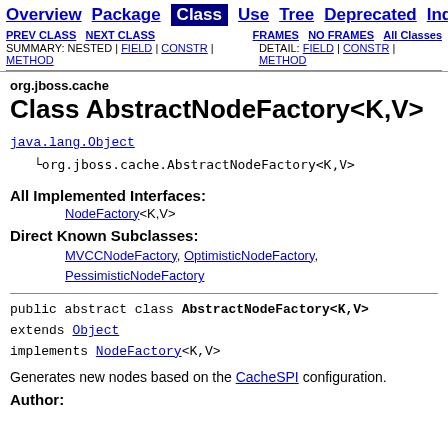Overview | Package | Class | Use | Tree | Deprecated | Index | H...
PREV CLASS  NEXT CLASS  FRAMES  NO FRAMES  All Classes SUMMARY: NESTED | FIELD | CONSTR | METHOD  DETAIL: FIELD | CONSTR | METHOD
org.jboss.cache
Class AbstractNodeFactory<K,V>
java.lang.Object
  └org.jboss.cache.AbstractNodeFactory<K,V>
All Implemented Interfaces:
NodeFactory<K,V>
Direct Known Subclasses:
MVCCNodeFactory, OptimisticNodeFactory, PessimisticNodeFactory
public abstract class AbstractNodeFactory<K,V>
extends Object
implements NodeFactory<K,V>
Generates new nodes based on the CacheSPI configuration.
Author: